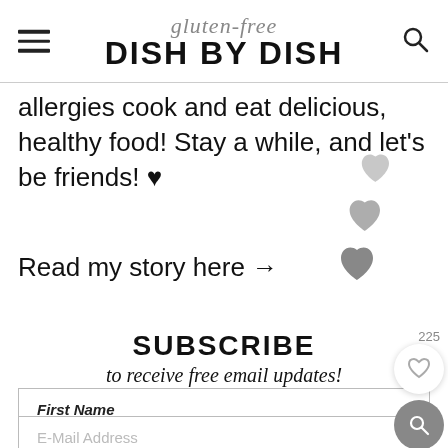gluten-free DISH BY DISH
allergies cook and eat delicious, healthy food! Stay a while, and let's be friends! ♥
Read my story here →
[Figure (illustration): Three decorative grey hearts in descending size arranged diagonally]
SUBSCRIBE
to receive free email updates!
First Name
E-Mail Address